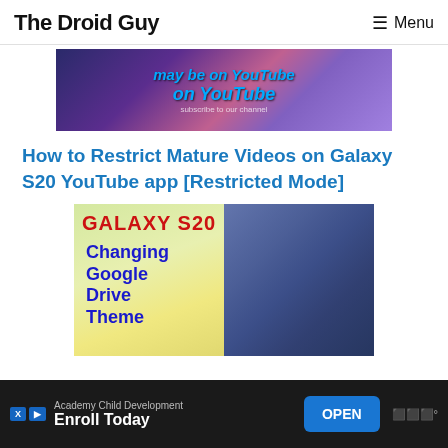The Droid Guy   ☰ Menu
[Figure (screenshot): Banner image with text 'on YouTube' in blue italic bold text over a purple/floral background]
How to Restrict Mature Videos on Galaxy S20 YouTube app [Restricted Mode]
[Figure (screenshot): Thumbnail image showing 'GALAXY S20' in red text and 'Changing Google Drive Theme' in blue bold text over a split yellow-green and dark blue/purple background]
[Figure (screenshot): Ad banner at bottom: Academy Child Development - Enroll Today - OPEN button]